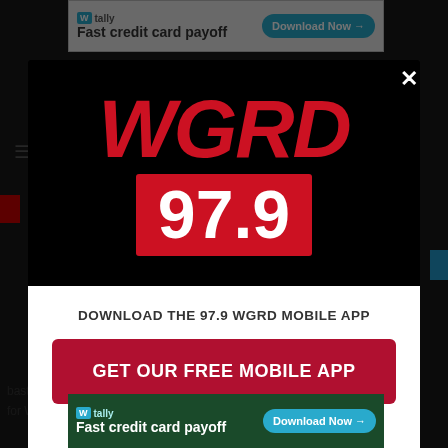[Figure (screenshot): WGRD 97.9 radio station mobile app download modal overlay on a webpage. The modal has a black top section with the WGRD 97.9 logo in red and white, and a white bottom section with a call-to-action button and Amazon Alexa listening option. Background shows a partially visible webpage with a Tally advertisement banner at top and bottom.]
DOWNLOAD THE 97.9 WGRD MOBILE APP
GET OUR FREE MOBILE APP
Also listen on:  amazon alexa